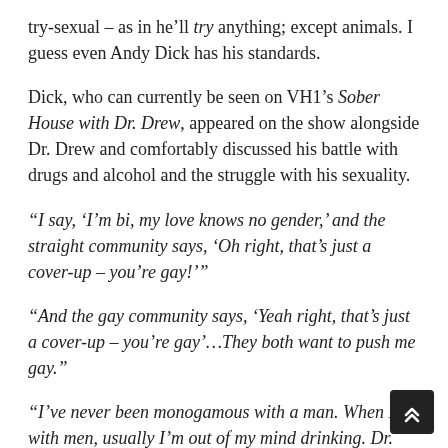try-sexual – as in he'll try anything; except animals. I guess even Andy Dick has his standards.
Dick, who can currently be seen on VH1's Sober House with Dr. Drew, appeared on the show alongside Dr. Drew and comfortably discussed his battle with drugs and alcohol and the struggle with his sexuality.
“I say, ‘I’m bi, my love knows no gender,’ and the straight community says, ‘Oh right, that’s just a cover-up – you’re gay!’”
“And the gay community says, ‘Yeah right, that’s just a cover-up – you’re gay’…They both want to push me gay.”
“I’ve never been monogamous with a man. When I’m with men, usually I’m out of my mind drinking. Dr. Dr…